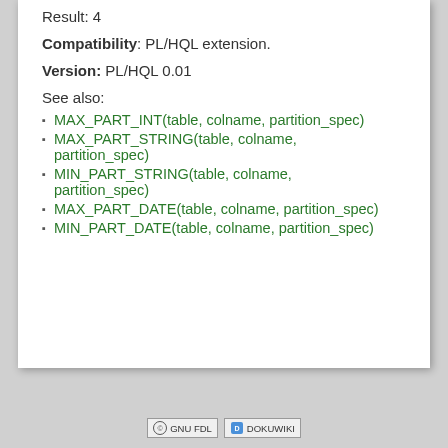Result: 4
Compatibility: PL/HQL extension.
Version: PL/HQL 0.01
See also:
MAX_PART_INT(table, colname, partition_spec)
MAX_PART_STRING(table, colname, partition_spec)
MIN_PART_STRING(table, colname, partition_spec)
MAX_PART_DATE(table, colname, partition_spec)
MIN_PART_DATE(table, colname, partition_spec)
GNU FDL | DOKUWIKI